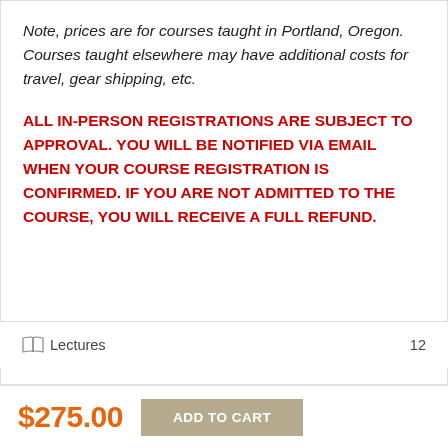Note, prices are for courses taught in Portland, Oregon. Courses taught elsewhere may have additional costs for travel, gear shipping, etc.
ALL IN-PERSON REGISTRATIONS ARE SUBJECT TO APPROVAL. YOU WILL BE NOTIFIED VIA EMAIL WHEN YOUR COURSE REGISTRATION IS CONFIRMED. IF YOU ARE NOT ADMITTED TO THE COURSE, YOU WILL RECEIVE A FULL REFUND.
Lectures  12
$275.00  ADD TO CART